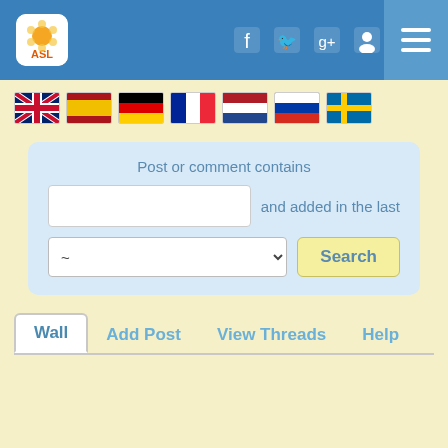[Figure (screenshot): Navigation bar with ASL logo, social media icons (Facebook, Twitter, Google+, user profile), and hamburger menu button on blue background]
[Figure (infographic): Row of country flag icons: UK, Spain, Germany, France, Netherlands, Russia, Sweden]
Post or comment contains
and added in the last
~ (dropdown) Search
Wall  Add Post  View Threads  Help